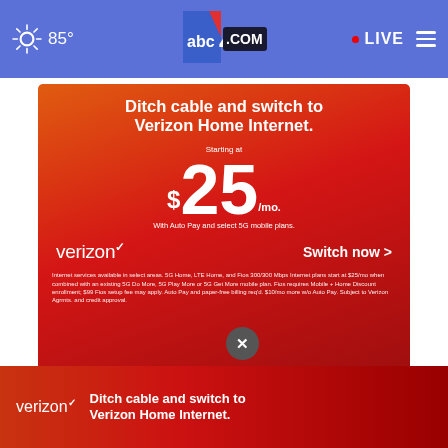85° abc4.com LIVE
[Figure (infographic): Verizon Home Internet ad: 'Ditch cable and switch to Verizon Home Internet. Starting at $25/mo. With Auto Pay and select 5G mobile plans. verizon Switch now >']
AROUND THE WEB
[Figure (infographic): Bottom banner ad: verizon logo, 'Ditch cable and switch to Verizon Home Internet.' with red-to-dark gradient background and X close button]